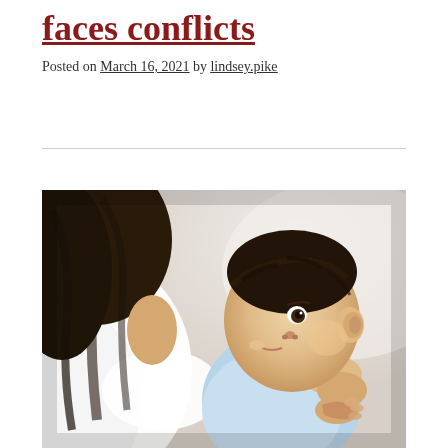faces conflicts
Posted on March 16, 2021 by lindsey.pike
[Figure (photo): A mother breastfeeding her infant baby. The mother is seen from behind/side with dark hair. The baby, wearing a light blue onesie, looks up toward the mother. Soft, warm background lighting.]